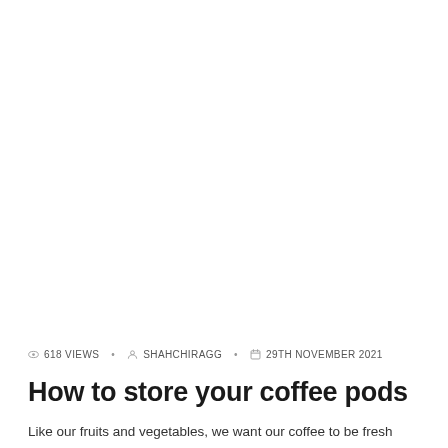👁 618 VIEWS  •  👤 SHAHCHIRAGG  •  🗓 29TH NOVEMBER 2021
How to store your coffee pods
Like our fruits and vegetables, we want our coffee to be fresh